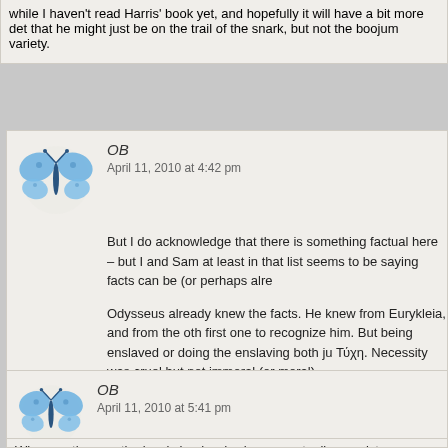while I haven't read Harris' book yet, and hopefully it will have a bit more det that he might just be on the trail of the snark, but not the boojum variety.
OB
April 11, 2010 at 4:42 pm
But I do acknowledge that there is something factual here – but I and Sam at least in that list seems to be saying facts can be (or perhaps alre

Odysseus already knew the facts. He knew from Eurykleia, and from the oth first one to recognize him. But being enslaved or doing the enslaving both ju Τύχη. Necessity was cruel but not immoral (or moral).

But yes, my part of my point is that we actually learn about the world as we g moral horizons broaden – as individuals and as a species, too. But what we (just) facts – even if you make facts things like "She says she wants to be tre anything less than that is degrading." That's partly because of course lots of
OB
April 11, 2010 at 5:41 pm
Who was the guy, the loyal shepherd, who was actually an aristo